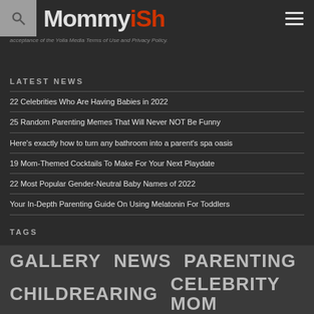Mommyish
acceptance of the Yolla Media Terms of Use and Privacy Policy.
LATEST NEWS
22 Celebrities Who Are Having Babies in 2022
25 Random Parenting Memes That Will Never NOT Be Funny
Here's exactly how to turn any bathroom into a parent's spa oasis
19 Mom-Themed Cocktails To Make For Your Next Playdate
22 Most Popular Gender-Neutral Baby Names of 2022
Your In-Depth Parenting Guide On Using Melatonin For Toddlers
TAGS
GALLERY  NEWS  PARENTING  CHILDREARING  CELEBRITY MOM